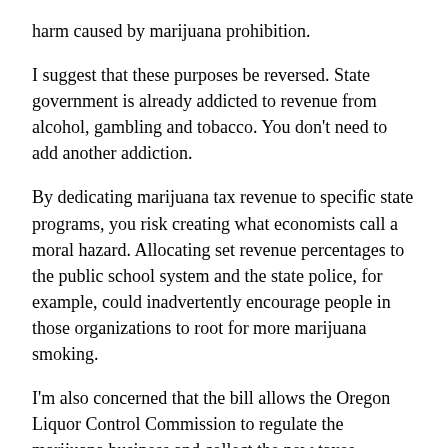harm caused by marijuana prohibition.
I suggest that these purposes be reversed. State government is already addicted to revenue from alcohol, gambling and tobacco. You don't need to add another addiction.
By dedicating marijuana tax revenue to specific state programs, you risk creating what economists call a moral hazard. Allocating set revenue percentages to the public school system and the state police, for example, could inadvertently encourage people in those organizations to root for more marijuana smoking.
I'm also concerned that the bill allows the Oregon Liquor Control Commission to regulate the marijuana business and collect the new taxes. Prohibiting the Commission from purchasing, owning or selling marijuana is good, but why let it have these other roles at a time when many people are seriously considering getting the state out of the alcohol